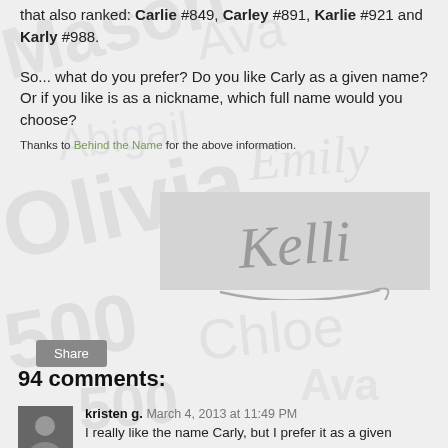that also ranked: Carlie #849, Carley #891, Karlie #921 and Karly #988.
So... what do you prefer? Do you like Carly as a given name? Or if you like is as a nickname, which full name would you choose?
Thanks to Behind the Name for the above information.
[Figure (illustration): Stylized cursive signature reading 'Kelli' in gray on a light gray rectangle background with a decorative underline swash.]
Share
94 comments:
kristen g. March 4, 2013 at 11:49 PM
I really like the name Carly, but I prefer it as a given name,